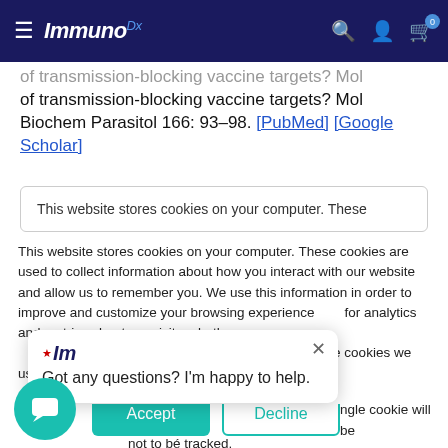ImmunoDx — navigation bar with hamburger menu, logo, search, account, and cart icons
of transmission-blocking vaccine targets? Mol Biochem Parasitol 166: 93–98. [PubMed] [Google Scholar]
This website stores cookies on your computer. These
This website stores cookies on your computer. These cookies are used to collect information about how you interact with our website and allow us to remember you. We use this information in order to improve and customize your browsing experience for analytics and metrics about our visitors both on this website and other media. To find out more about the cookies we use, see our Privacy Policy. If you decline, your information won't be tracked when you visit this website. A single cookie will be used in your browser to remember your preference not to be tracked.
Got any questions? I'm happy to help.
Accept
Decline